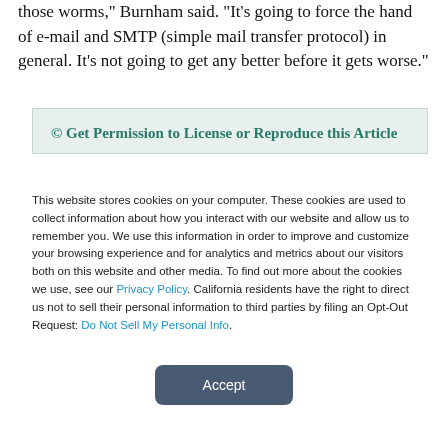those worms,' Burnham said. 'It's going to force the hand of e-mail and SMTP (simple mail transfer protocol) in general. It's not going to get any better before it gets worse."
© Get Permission to License or Reproduce this Article
This website stores cookies on your computer. These cookies are used to collect information about how you interact with our website and allow us to remember you. We use this information in order to improve and customize your browsing experience and for analytics and metrics about our visitors both on this website and other media. To find out more about the cookies we use, see our Privacy Policy. California residents have the right to direct us not to sell their personal information to third parties by filing an Opt-Out Request: Do Not Sell My Personal Info.